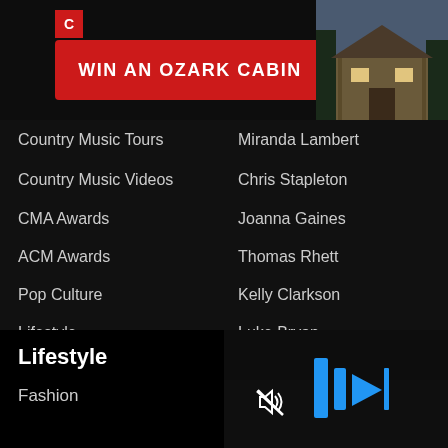[Figure (screenshot): Banner advertisement for winning an Ozark Cabin, with a red button showing 'WIN AN OZARK CABIN' text and a photo of a cabin on the right, with a small logo icon on top left.]
Country Music Tours
Miranda Lambert
Country Music Videos
Chris Stapleton
CMA Awards
Joanna Gaines
ACM Awards
Thomas Rhett
Pop Culture
Kelly Clarkson
Lifestyle
Luke Bryan
Food & Drink
Jason Aldean
Giveaways
Florida Georgia Line
Keith Urban (partial)
Lifestyle
Fashion
[Figure (screenshot): Video player controls showing blue play/pause icons on a dark background with nature imagery, and a mute icon overlay.]